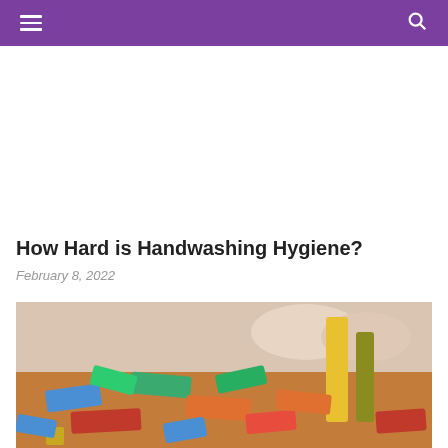navigation header with hamburger menu and search icon
How Hard is Handwashing Hygiene?
February 8, 2022
[Figure (photo): Colorful wooden building blocks scattered on a table with a child's hands visible in the background]